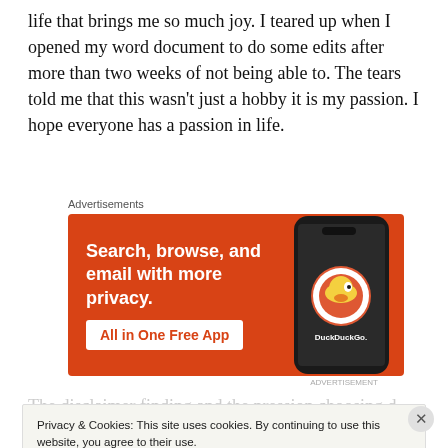life that brings me so much joy. I teared up when I opened my word document to do some edits after more than two weeks of not being able to. The tears told me that this wasn't just a hobby it is my passion. I hope everyone has a passion in life.
Advertisements
[Figure (other): DuckDuckGo advertisement banner showing orange background with text 'Search, browse, and email with more privacy. All in One Free App' and a smartphone displaying the DuckDuckGo app logo on the right side.]
The disclaimer finding and the pression choosing d
Privacy & Cookies: This site uses cookies. By continuing to use this website, you agree to their use.
To find out more, including how to control cookies, see here: Cookie Policy
Close and accept